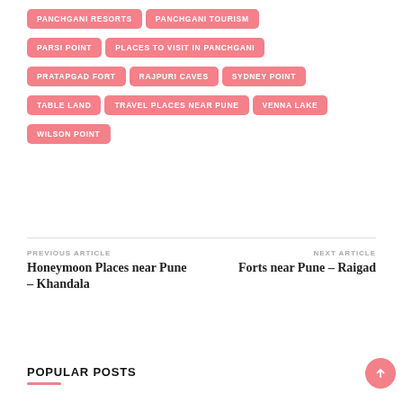PANCHGANI RESORTS
PANCHGANI TOURISM
PARSI POINT
PLACES TO VISIT IN PANCHGANI
PRATAPGAD FORT
RAJPURI CAVES
SYDNEY POINT
TABLE LAND
TRAVEL PLACES NEAR PUNE
VENNA LAKE
WILSON POINT
PREVIOUS ARTICLE
Honeymoon Places near Pune – Khandala
NEXT ARTICLE
Forts near Pune – Raigad
POPULAR POSTS